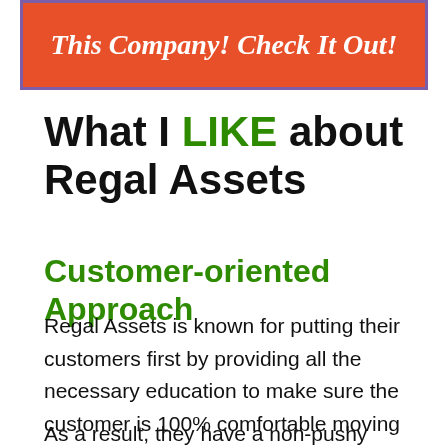[Figure (other): Orange promotional banner with purple border containing italic bold white text: 'This Company! Check It Out!']
What I LIKE about Regal Assets
Customer-oriented Approach
Regal Assets is known for putting their customers first by providing all the necessary education to make sure the customer is 100% comfortable moving forward with their investment.
As a result, they have a non-pushy sales approach. Unlike many companies who try to push their clients